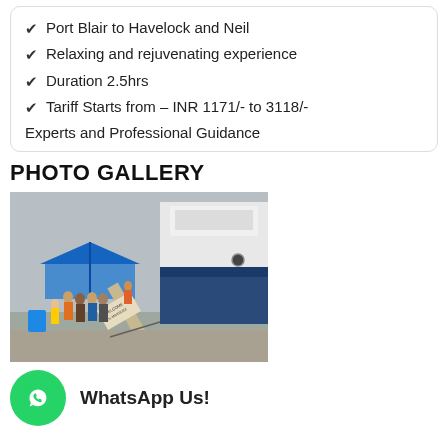Port Blair to Havelock and Neil
Relaxing and rejuvenating experience
Duration 2.5hrs
Tariff Starts from – INR 1171/- to 3118/-
Experts and Professional Guidance
PHOTO GALLERY
[Figure (photo): People boarding a ferry/catamaran vessel at a dock. A blue tent canopy is visible on the left, passengers queue on the gangway which has a 'Welcome M.V. Makruzz' sign. The large white and blue ferry fills the right side of the image.]
WhatsApp Us!